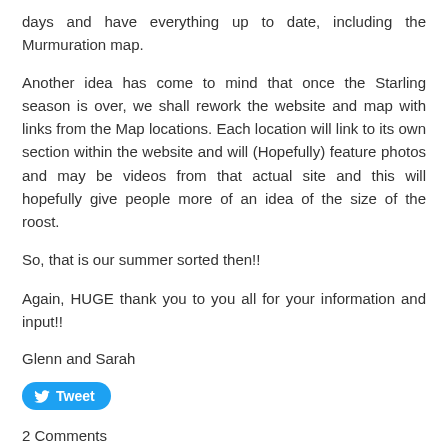days and have everything up to date, including the Murmuration map.
Another idea has come to mind that once the Starling season is over, we shall rework the website and map with links from the Map locations. Each location will link to its own section within the website and will (Hopefully) feature photos and may be videos from that actual site and this will hopefully give people more of an idea of the size of the roost.
So, that is our summer sorted then!!
Again, HUGE thank you to you all for your information and input!!
Glenn and Sarah
[Figure (other): Tweet button with Twitter bird icon]
2 Comments
New locations
11/11/2016    1 Comment